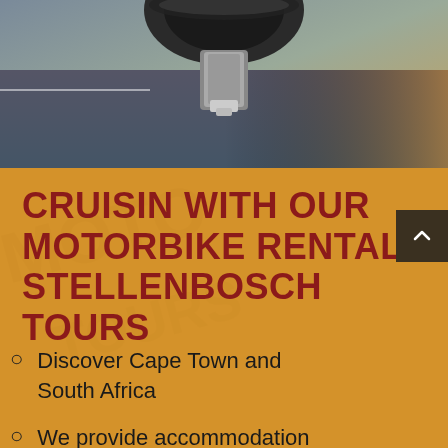[Figure (photo): Close-up photo of a motorbike wheel/undercarriage on a road, motion blur in background, warm sunset tones on right side]
CRUISIN WITH OUR MOTORBIKE RENTALS STELLENBOSCH TOURS
Discover Cape Town and South Africa
We provide accommodation for extended trips